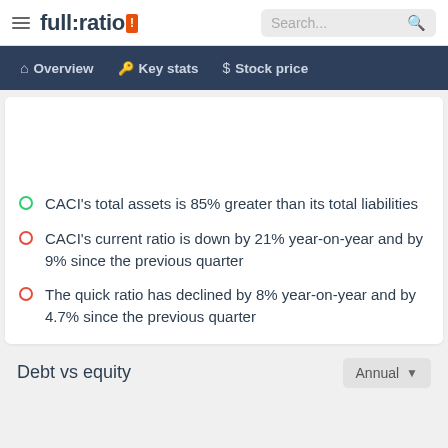full:ratio | Search...
Overview | Key stats | Stock price
CACI's total assets is 85% greater than its total liabilities
CACI's current ratio is down by 21% year-on-year and by 9% since the previous quarter
The quick ratio has declined by 8% year-on-year and by 4.7% since the previous quarter
Debt vs equity